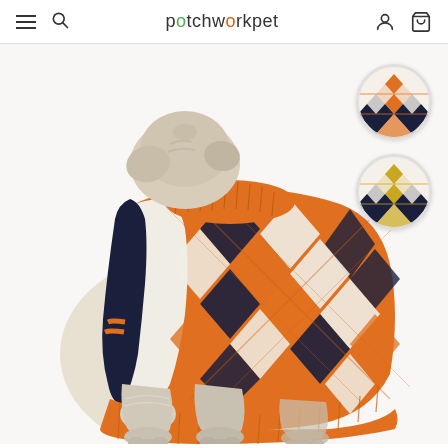patchworkpet
[Figure (photo): A pug dog wearing an orange, navy, and white argyle knit turtleneck sweater, photographed from behind/side view on white background. Two circular swatches on the right show color variants: top swatch is orange/navy/white argyle, bottom swatch is yellow/navy/white argyle.]